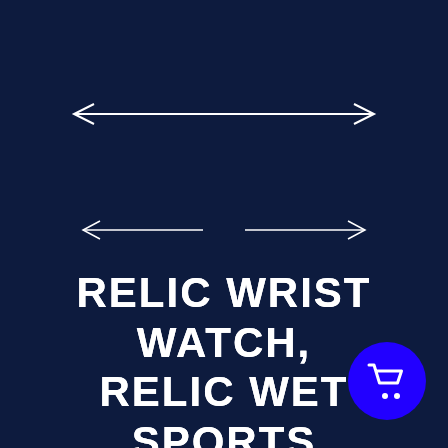[Figure (other): Navigation arrows: a left-pointing arrow (←) with a horizontal line on top, and two smaller left/right arrows (← →) with horizontal lines below, on a dark navy background]
RELIC WRIST WATCH, RELIC WET SPORTS WRIST WATCH, WOMEN'S WRIST WATCH, WATERPROOF WRIST WATCH,
[Figure (illustration): Blue circular shopping cart button icon in the bottom-right area]